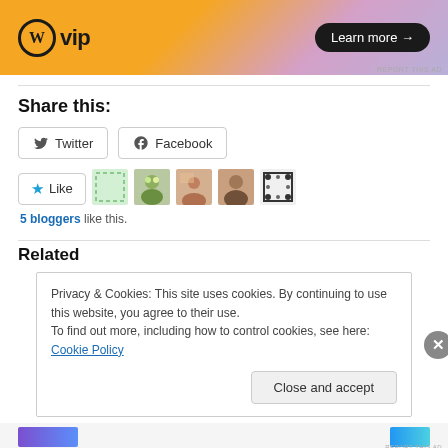[Figure (illustration): WordPress VIP advertisement banner with orange-to-purple gradient background, WordPress W logo, 'vip' text, and 'Learn more →' button in black rounded rectangle]
Share this:
Twitter  Facebook
Like  5 bloggers like this.
Related
Privacy & Cookies: This site uses cookies. By continuing to use this website, you agree to their use. To find out more, including how to control cookies, see here: Cookie Policy
Close and accept